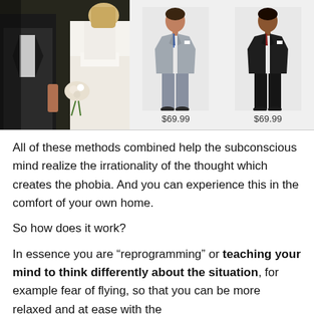[Figure (photo): Left: wedding couple photo showing groom in dark suit and bride in white dress holding flowers, dark/moody tone. Center: boy in light gray suit. Right: boy in dark/black suit. Both boys priced at $69.99.]
$69.99 (gray suit) and $69.99 (black suit)
All of these methods combined help the subconscious mind realize the irrationality of the thought which creates the phobia. And you can experience this in the comfort of your own home.
So how does it work?
In essence you are “reprogramming” or teaching your mind to think differently about the situation, for example fear of flying, so that you can be more relaxed and at ease with the